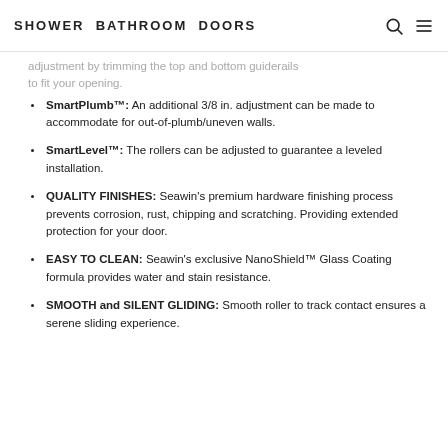SHOWER BATHROOM DOORS
adjustment by trimming the top and bottom guiderails to fit your opening.
SmartPlumb™: An additional 3/8 in. adjustment can be made to accommodate for out-of-plumb/uneven walls.
SmartLevel™: The rollers can be adjusted to guarantee a leveled installation.
QUALITY FINISHES: Seawin's premium hardware finishing process prevents corrosion, rust, chipping and scratching. Providing extended protection for your door.
EASY TO CLEAN: Seawin's exclusive NanoShield™ Glass Coating formula provides water and stain resistance.
SMOOTH and SILENT GLIDING: Smooth roller to track contact ensures a serene sliding experience.